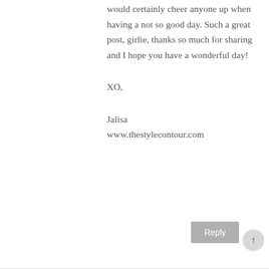would certainly cheer anyone up when having a not so good day. Such a great post, girlie, thanks so much for sharing and I hope you have a wonderful day!
XO,
Jalisa
www.thestylecontour.com